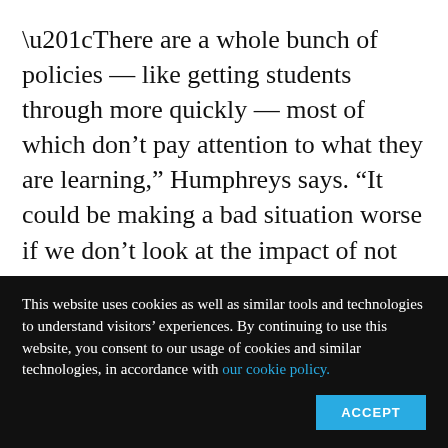“There are a whole bunch of policies — like getting students through more quickly — most of which don’t pay attention to what they are learning,” Humphreys says. “It could be making a bad situation worse if we don’t look at the impact of not only how many students get through, but what they learn.”
She says there is certainly need for
This website uses cookies as well as similar tools and technologies to understand visitors’ experiences. By continuing to use this website, you consent to our usage of cookies and similar technologies, in accordance with our cookie policy.